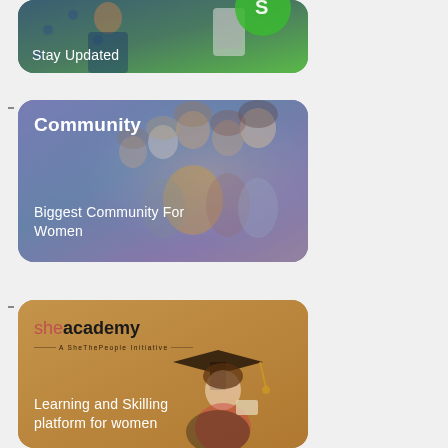[Figure (screenshot): Partial card at top showing 'Stay Updated' text overlay on a green-tinted photo background]
[Figure (screenshot): Community card with blue-purple tinted photo of group of smiling women, title 'Community' and subtitle 'Biggest Community For Women']
[Figure (screenshot): She Academy card with tan/golden background, logo 'she academy - A SheThePeople Initiative', image of graduate woman, subtitle 'Learning and Skilling platform for women']